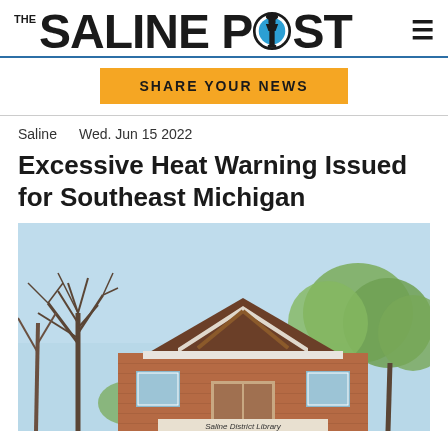THE SALINE POST
SHARE YOUR NEWS
Saline   Wed. Jun 15 2022
Excessive Heat Warning Issued for Southeast Michigan
[Figure (photo): Exterior photo of Saline District Library building with brick facade, dark wood gabled roof, bare trees and leafy trees visible against a light blue sky. Sign reads 'Saline District Library'.]